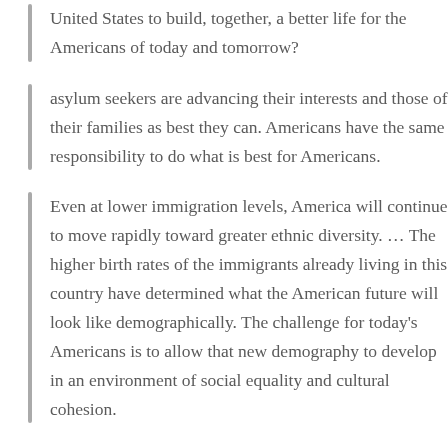United States to build, together, a better life for the Americans of today and tomorrow?
asylum seekers are advancing their interests and those of their families as best they can. Americans have the same responsibility to do what is best for Americans.
Even at lower immigration levels, America will continue to move rapidly toward greater ethnic diversity. … The higher birth rates of the immigrants already living in this country have determined what the American future will look like demographically. The challenge for today's Americans is to allow that new demography to develop in an environment of social equality and cultural cohesion.